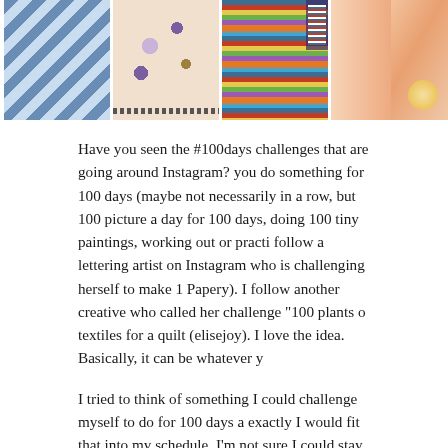[Figure (photo): Four photos in a horizontal strip: diagonal blue and white striped fabric, pink floral zippered pouch, multicolored horizontal striped garment with pocket, and partial view of person's hand/arm in yellow]
Have you seen the #100days challenges that are going around Instagram? you do something for 100 days (maybe not necessarily in a row, but 100 picture a day for 100 days, doing 100 tiny paintings, working out or practi follow a lettering artist on Instagram who is challenging herself to make 1 Papery). I follow another creative who called her challenge "100 plants o textiles for a quilt (elisejoy). I love the idea. Basically, it can be whatever y
I tried to think of something I could challenge myself to do for 100 days a exactly I would fit that into my schedule. I'm not sure I could stay dedicat really like variety). I decided I am not doing a #100days challenge. Instea taking screenshots of sewing projects I really want to try. I am a self-taug and pillow cases, but I was gifted a new sewing machine for my birthday start using it. 100 sewing projects seemed overwhelming, so I came up w
Here are the 12 I aim to do by the end of the year.
1. Hair bows: The bows pictured are by this super cute company called W Instagram). I won't necessarily be making these exact bows, but I plan to